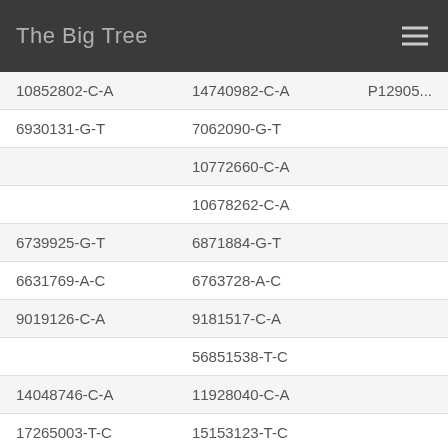The Big Tree
| 10852802-C-A | 14740982-C-A | P12905... |
| 6930131-G-T | 7062090-G-T |  |
|  | 10772660-C-A |  |
|  | 10678262-C-A |  |
| 6739925-G-T | 6871884-G-T |  |
| 6631769-A-C | 6763728-A-C |  |
| 9019126-C-A | 9181517-C-A |  |
|  | 56851538-T-C |  |
| 14048746-C-A | 11928040-C-A |  |
| 17265003-T-C | 15153123-T-C |  |
| 13207274-CTT-C,CT | 11051598-CTT-C,CT |  |